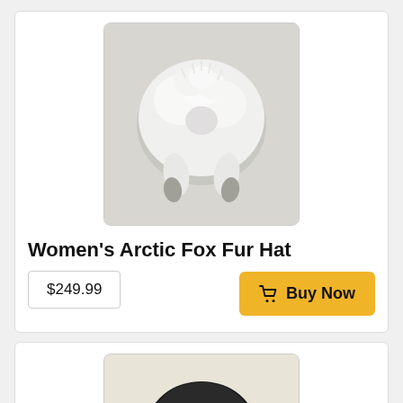[Figure (photo): Top-down view of a white arctic fox fur hat with fluffy white fur and two hanging tails with dark tips, photographed on a light gray background.]
Women's Arctic Fox Fur Hat
$249.99
Buy Now
[Figure (photo): Partially visible product image showing dark hair or fur hat from above on a light background, cropped at page bottom.]